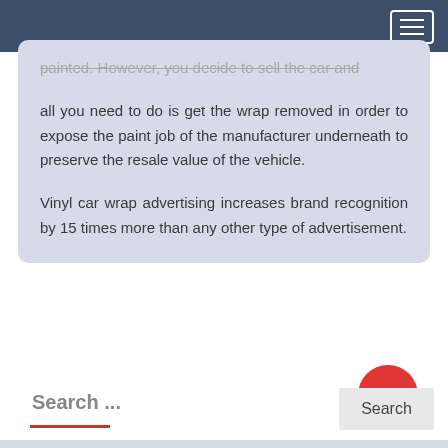painted. However, you decide to sell the car and all you need to do is get the wrap removed in order to expose the paint job of the manufacturer underneath to preserve the resale value of the vehicle.
Vinyl car wrap advertising increases brand recognition by 15 times more than any other type of advertisement.
Search ...
Search